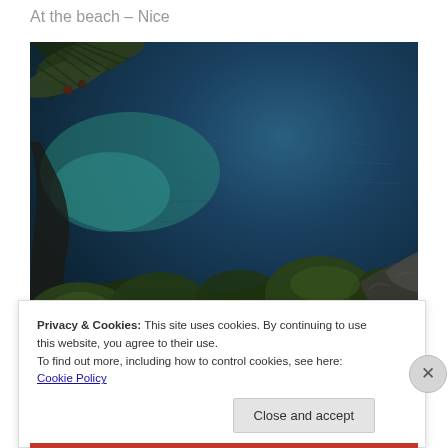At the beach – Nice
[Figure (photo): Aerial/elevated view of the Mediterranean Sea near Nice, with pine tree branches in the upper left and foreground, dark blue-green water, green shrubs and rocky shore at the bottom, watermark reading '© Maya Oryan']
Privacy & Cookies: This site uses cookies. By continuing to use this website, you agree to their use.
To find out more, including how to control cookies, see here: Cookie Policy
Close and accept